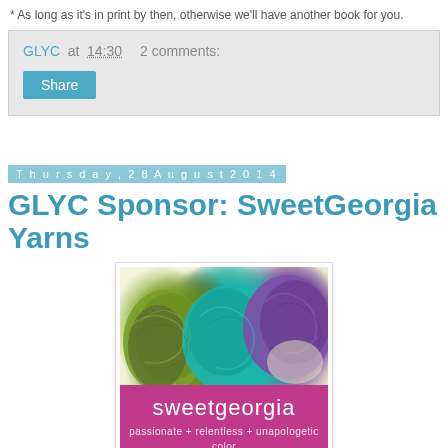* As long as it's in print by then, otherwise we'll have another book for you.
GLYC at 14:30    2 comments:
Share
Thursday, 28 August 2014
GLYCC Sponsor: SweetGeorgia Yarns
[Figure (photo): SweetGeorgia Yarns sponsor image showing skeins of green, teal, and purple yarn with 'sweetgeorgia' branding and tagline 'passionate + relentless + unapologetic color']